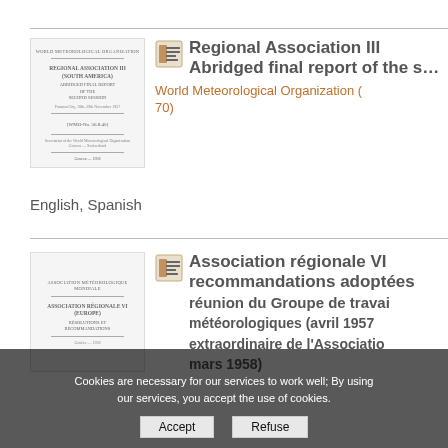[Figure (illustration): Thumbnail of document cover: Regional Association III (South America) Abridged Final Report of the Second Session]
Regional Association III Abridged final report of the s
World Meteorological Organization (70)
English, Spanish
[Figure (illustration): Thumbnail of document cover: Association régionale VI (Europe)]
Association régionale VI recommandations adoptées réunion du Groupe de travail météorologiques (avril 1957 extraordinaire de l'Associatio mars 1958)
Cookies are necessary for our services to work well; By using our services, you accept the use of cookies.
Refuse
Accept